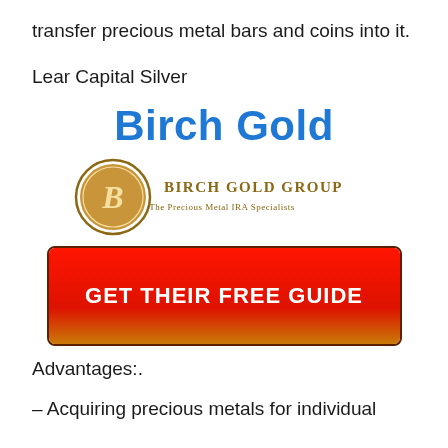transfer precious metal bars and coins into it.
Lear Capital Silver
Birch Gold
[Figure (logo): Birch Gold Group logo — circular gold emblem with stylized B, beside text 'BIRCH GOLD GROUP' and subtitle 'The Precious Metal IRA Specialists']
[Figure (other): Red-to-gold gradient call-to-action button with text 'GET THEIR FREE GUIDE']
Advantages:.
– Acquiring precious metals for individual